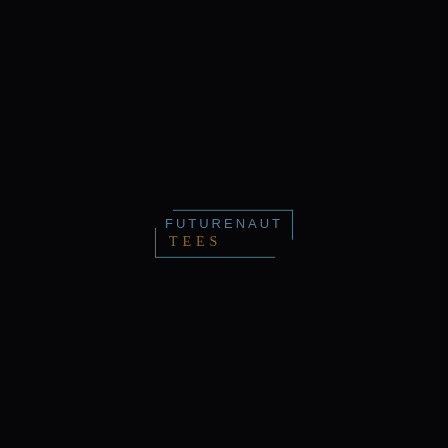[Figure (logo): Futurenaut Tees logo on black background. The logo has 'FUTURENAUT' in spaced sans-serif letters in a steel blue/teal color, and 'TEES' below in a serif font in a golden/amber color. A rectangular border in steel blue surrounds both lines of text, with the top-right and bottom-left corners offset (the border lines do not complete a full rectangle at those corners).]